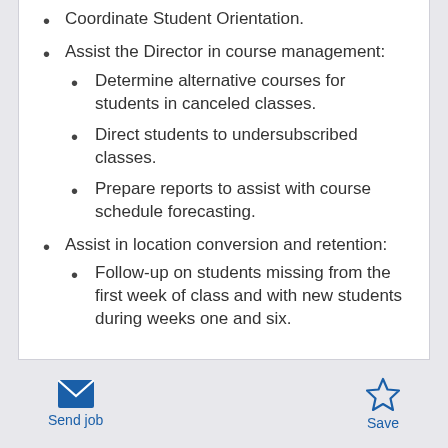Coordinate Student Orientation.
Assist the Director in course management:
Determine alternative courses for students in canceled classes.
Direct students to undersubscribed classes.
Prepare reports to assist with course schedule forecasting.
Assist in location conversion and retention:
Follow-up on students missing from the first week of class and with new students during weeks one and six.
Send job  Save